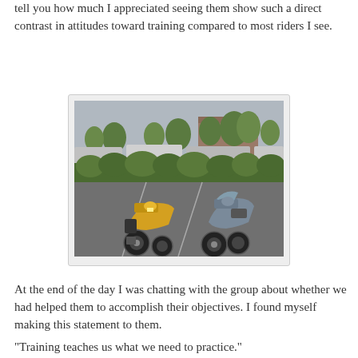This was a very personable and enthusiastic group. I can't tell you how much I appreciated seeing them show such a direct contrast in attitudes toward training compared to most riders I see.
[Figure (photo): Two motorcycles parked in a parking lot — a yellow sport-touring bike on the left and a dark grey/silver sport-touring bike on the right. Trees and buildings visible in the background.]
At the end of the day I was chatting with the group about whether we had helped them to accomplish their objectives. I found myself making this statement to them.
"Training teaches us what we need to practice."